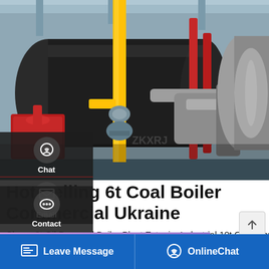[Figure (photo): Industrial coal boiler with yellow and red pipes in a factory/plant setting]
Hot Selling 6t Coal Boiler Commercial Ukraine
Cheap 8t Oil Powered Boiler Plant Estonia. Industrial 10t Oil Boiler Plant Agent Kyrgyzstan. 10t Coal Fired Steam Boiler Agent ... am boiler for Kyrgyzstan furniture. ... rniture industries 2 sets 20ton
Leave Message   OnlineChat